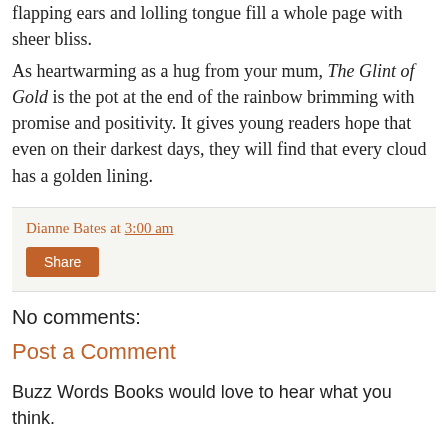flapping ears and lolling tongue fill a whole page with sheer bliss.
As heartwarming as a hug from your mum, The Glint of Gold is the pot at the end of the rainbow brimming with promise and positivity. It gives young readers hope that even on their darkest days, they will find that every cloud has a golden lining.
Dianne Bates at 3:00 am
Share
No comments:
Post a Comment
Buzz Words Books would love to hear what you think.